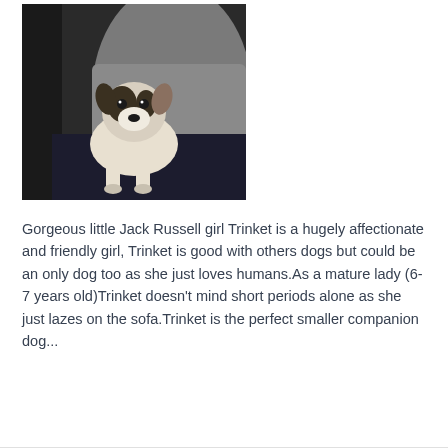[Figure (photo): A Jack Russell terrier dog sitting on a person's lap, looking at the camera. Dark background. The dog is small with black, white and tan markings.]
Gorgeous little Jack Russell girl Trinket is a hugely affectionate and friendly girl, Trinket is good with others dogs but could be an only dog too as she just loves humans.As a mature lady (6-7 years old)Trinket doesn't mind short periods alone as she just lazes on the sofa.Trinket is the perfect smaller companion dog...
Read More